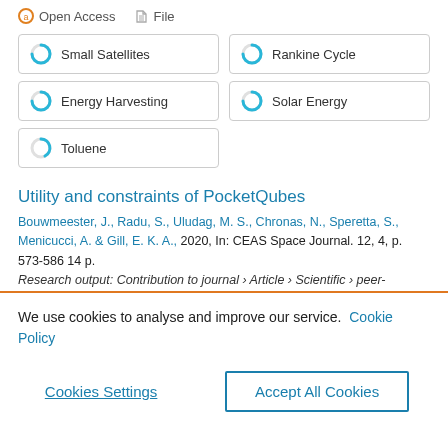Open Access   File
Small Satellites
Rankine Cycle
Energy Harvesting
Solar Energy
Toluene
Utility and constraints of PocketQubes
Bouwmeester, J., Radu, S., Uludag, M. S., Chronas, N., Speretta, S., Menicucci, A. & Gill, E. K. A., 2020, In: CEAS Space Journal. 12, 4, p. 573-586 14 p.
Research output: Contribution to journal › Article › Scientific › peer-
We use cookies to analyse and improve our service.  Cookie Policy
Cookies Settings
Accept All Cookies